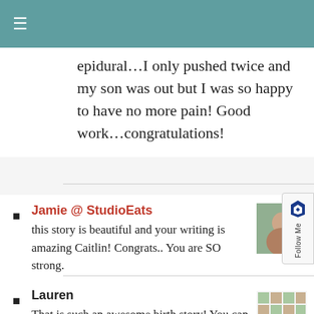≡
epidural…I only pushed twice and my son was out but I was so happy to have no more pain! Good work…congratulations!
Jamie @ StudioEats — this story is beautiful and your writing is amazing Caitlin! Congrats.. You are SO strong.
Lauren — That is such an awesome birth story! You can most certainly be proud of yourself 🙂 Thank you so